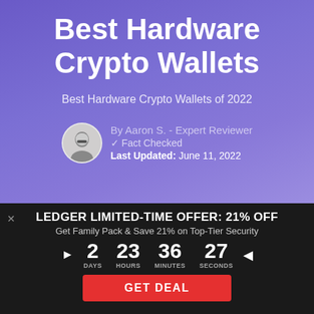Best Hardware Crypto Wallets
Best Hardware Crypto Wallets of 2022
By Aaron S. - Expert Reviewer
✓ Fact Checked
Last Updated: June 11, 2022
LEDGER LIMITED-TIME OFFER: 21% OFF
Get Family Pack & Save 21% on Top-Tier Security
2 DAYS  23 HOURS  36 MINUTES  27 SECONDS
GET DEAL